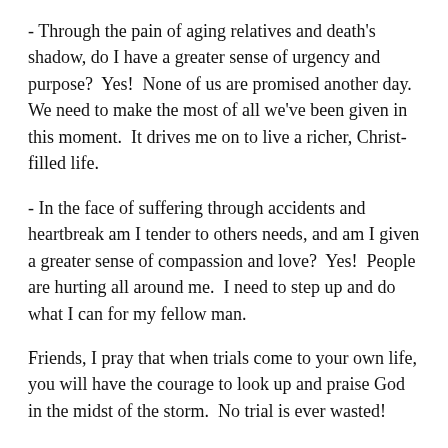- Through the pain of aging relatives and death's shadow, do I have a greater sense of urgency and purpose?  Yes!  None of us are promised another day.  We need to make the most of all we've been given in this moment.  It drives me on to live a richer, Christ-filled life.
- In the face of suffering through accidents and heartbreak am I tender to others needs, and am I given a greater sense of compassion and love?  Yes!  People are hurting all around me.  I need to step up and do what I can for my fellow man.
Friends, I pray that when trials come to your own life, you will have the courage to look up and praise God in the midst of the storm.  No trial is ever wasted!
Blessings,
Kristi